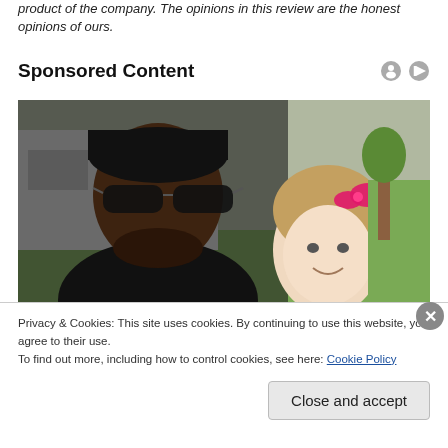product of the company. The opinions in this review are the honest opinions of ours.
Sponsored Content
[Figure (photo): A smiling man wearing sunglasses and a black cap posing with a young girl with a pink bow in her hair, outdoors near a white vehicle and green grass in the background.]
Privacy & Cookies: This site uses cookies. By continuing to use this website, you agree to their use.
To find out more, including how to control cookies, see here: Cookie Policy
Close and accept